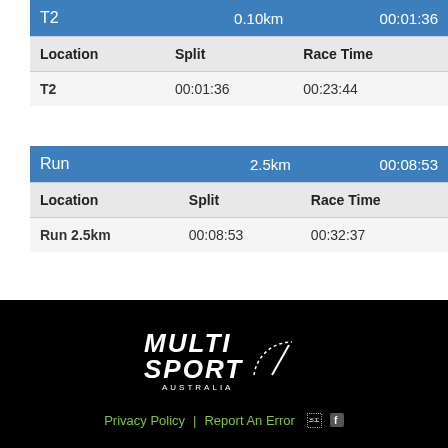| Location | Split | Race Time |
| --- | --- | --- |
| T2 | 00:01:36 | 00:23:44 |
| Location | Split | Race Time |
| --- | --- | --- |
| Run 2.5km | 00:08:53 | 00:32:37 |
[Figure (other): Filter/settings icon button with blue background]
[Figure (logo): Multi Sport Australia logo with speedometer graphic, white text on black background]
Privacy Policy | Report An Error